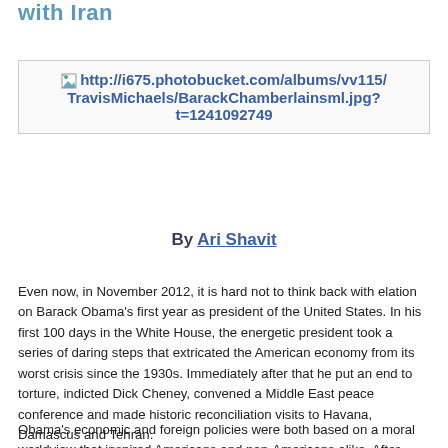with Iran
[Figure (other): Broken image placeholder showing URL: http://i675.photobucket.com/albums/vv115/TravisMichaels/BarackChamberlainsml.jpg?t=1241092749]
By Ari Shavit
Even now, in November 2012, it is hard not to think back with elation on Barack Obama's first year as president of the United States. In his first 100 days in the White House, the energetic president took a series of daring steps that extricated the American economy from its worst crisis since the 1930s. Immediately after that he put an end to torture, indicted Dick Cheney, convened a Middle East peace conference and made historic reconciliation visits to Havana, Damascus and Tehran.
Obama's economic and foreign policies were both based on a moral worldview that inspired Americans and non-Americans alike. After years of